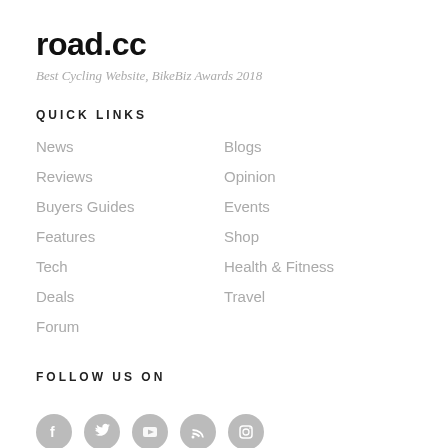road.cc
Best Cycling Website, BikeBiz Awards 2018
QUICK LINKS
News
Reviews
Buyers Guides
Features
Tech
Deals
Forum
Blogs
Opinion
Events
Shop
Health & Fitness
Travel
FOLLOW US ON
[Figure (infographic): Social media icons: Facebook, Twitter, YouTube, RSS, Instagram — circular grey icons]
OUR WEBSITES